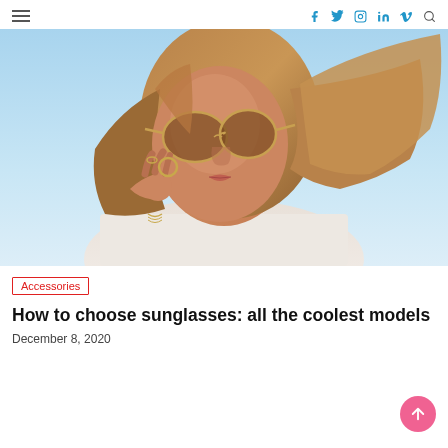Navigation bar with hamburger menu and social icons: f, twitter, instagram, in, v, search
[Figure (photo): Woman wearing aviator sunglasses with brown lenses, holding frame with one hand, wearing white off-shoulder top and gold jewelry, hair blowing in wind, blue sky background]
Accessories
How to choose sunglasses: all the coolest models
December 8, 2020